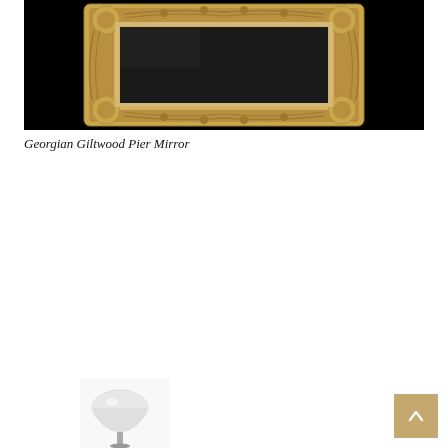[Figure (photo): Georgian Giltwood Pier Mirror with ornate gold carved frame against black background]
Georgian Giltwood Pier Mirror
[Figure (photo): Partial view of a lamp or decorative object at the bottom of the page]